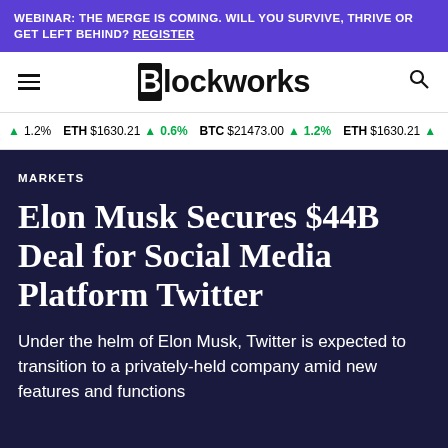WEBINAR: THE MERGE IS COMING. WILL YOU SURVIVE, THRIVE OR GET LEFT BEHIND? REGISTER
[Figure (logo): Blockworks logo with hamburger menu and search icon]
1.2%  ETH $1630.21 ▲ 0.6%  BTC $21473.00 ▲ 1.2%  ETH $1630.21 ▲
MARKETS
Elon Musk Secures $44B Deal for Social Media Platform Twitter
Under the helm of Elon Musk, Twitter is expected to transition to a privately-held company amid new features and functions